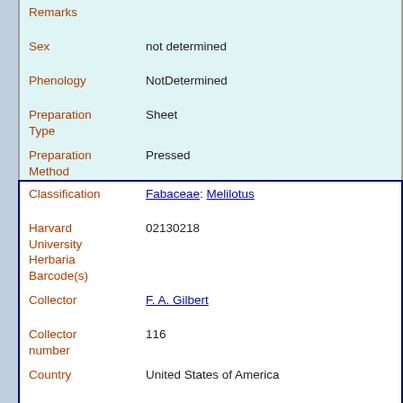| Field | Value |
| --- | --- |
| Remarks |  |
| Sex | not determined |
| Phenology | NotDetermined |
| Preparation Type | Sheet |
| Preparation Method | Pressed |
| Field | Value |
| --- | --- |
| Classification | Fabaceae: Melilotus |
| Harvard University Herbaria Barcode(s) | 02130218 |
| Collector | F. A. Gilbert |
| Collector number | 116 |
| Country | United States of America |
| State | West Virginia |
| Geography | North America: North America (CA, US, MX) (Region): United States of America: West Virginia: Cabell County |